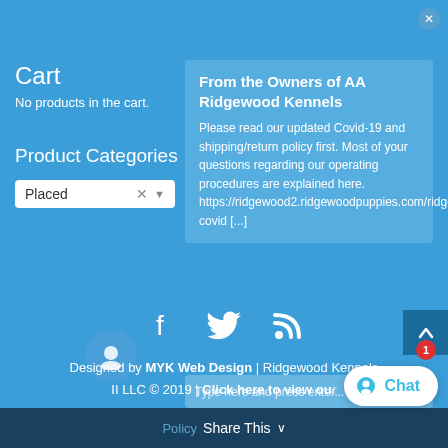Cart
No products in the cart.
Product Categories
Placed
From the Owners of AA Ridgewood Kennels
Please read our updated Covid-19 and shipping/return policy first. Most of your questions regarding our operating procedures are explained here. https://ridgewood2.ridgewoodpuppies.com/ridgewoods-covid [...]
Type here and press enter...
Designed by MYK Web Design | Ridgewood Kennels II LLC © 2019 | Click here to view our Policy
Share This